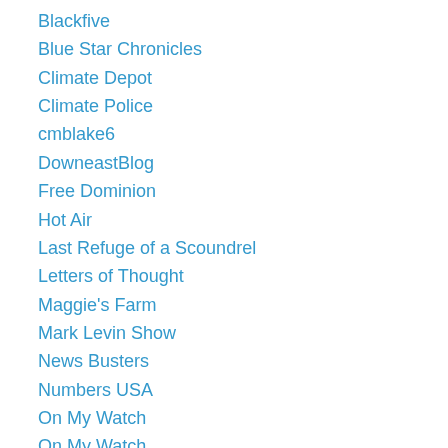Blackfive
Blue Star Chronicles
Climate Depot
Climate Police
cmblake6
DowneastBlog
Free Dominion
Hot Air
Last Refuge of a Scoundrel
Letters of Thought
Maggie's Farm
Mark Levin Show
News Busters
Numbers USA
On My Watch
On My Watch
Red State
Riehl World View
RightsPundits.com
Site Meter